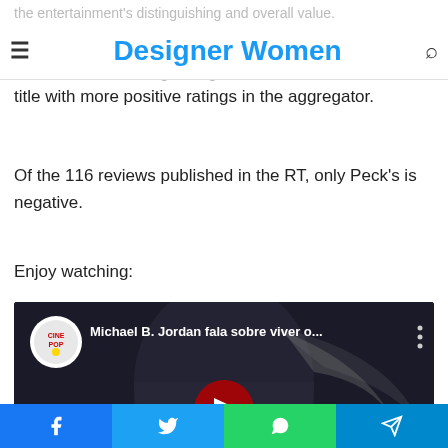the entertainment's distinguishing and overall value.
Designer Women
In addition to the failing downgrade, 'Creed Kane' lost the film title with more positive ratings in the aggregator.
Of the 116 reviews published in the RT, only Peck's is negative.
Enjoy watching:
[Figure (screenshot): YouTube video embed showing Michael B. Jordan with CinePop logo. Video title: 'Michael B. Jordan fala sobre viver o...' Bottom text: 'MICHAL B JORDAN COMO O 1°']
Facebook | Twitter | WhatsApp | Telegram social share buttons